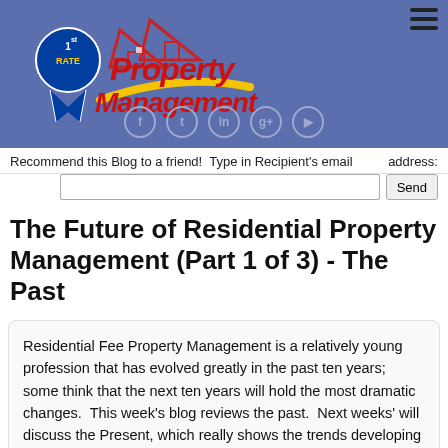[Figure (logo): 1st Rate Property Management logo with house graphics on blue banner background with social media icons]
Recommend this Blog to a friend!  Type in Recipient's email address:
The Future of Residential Property Management (Part 1 of 3) - The Past
Residential Fee Property Management is a relatively young profession that has evolved greatly in the past ten years; some think that the next ten years will hold the most dramatic changes.  This week's blog reviews the past.  Next weeks' will discuss the Present, which really shows the trends developing that start painting the picture for the future.